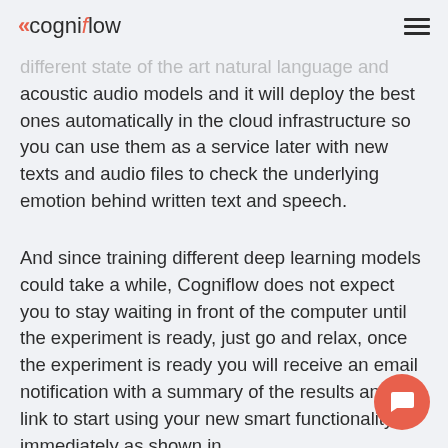cogniflow
different state of the art natural language and acoustic audio models and it will deploy the best ones automatically in the cloud infrastructure so you can use them as a service later with new texts and audio files to check the underlying emotion behind written text and speech.
And since training different deep learning models could take a while, Cogniflow does not expect you to stay waiting in front of the computer until the experiment is ready, just go and relax, once the experiment is ready you will receive an email notification with a summary of the results and a link to start using your new smart functionality immediately as shown in